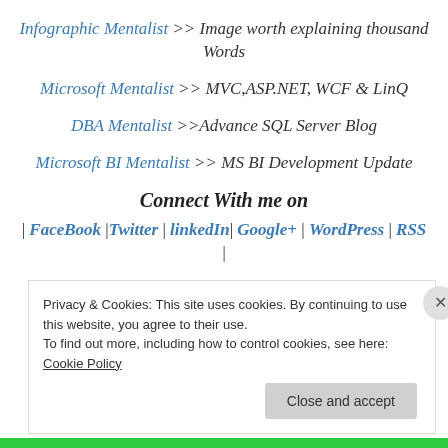Infographic Mentalist >> Image worth explaining thousand Words
Microsoft Mentalist >> MVC,ASP.NET, WCF & LinQ
DBA Mentalist >>Advance SQL Server Blog
Microsoft BI Mentalist >> MS BI Development Update
Connect With me on
| FaceBook |Twitter | linkedIn| Google+ | WordPress | RSS
|
Privacy & Cookies: This site uses cookies. By continuing to use this website, you agree to their use. To find out more, including how to control cookies, see here: Cookie Policy